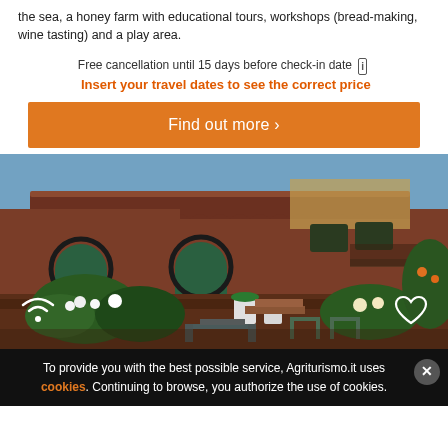the sea, a honey farm with educational tours, workshops (bread-making, wine tasting) and a play area.
Free cancellation until 15 days before check-in date [i] Insert your travel dates to see the correct price
Find out more >
[Figure (photo): Exterior of a rustic Italian farmhouse (agriturismo) with terracotta-colored stone walls, arched windows, courtyard with flowering plants, outdoor furniture, and warm golden evening light.]
To provide you with the best possible service, Agriturismo.it uses cookies. Continuing to browse, you authorize the use of cookies.